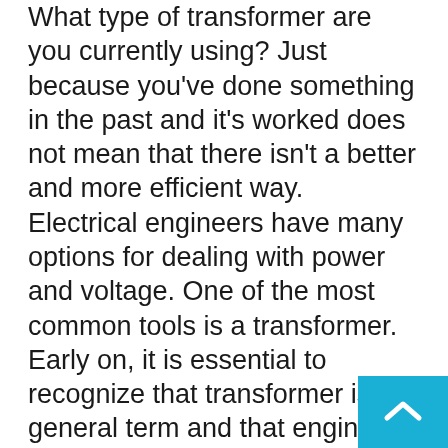What type of transformer are you currently using? Just because you've done something in the past and it's worked does not mean that there isn't a better and more efficient way. Electrical engineers have many options for dealing with power and voltage. One of the most common tools is a transformer. Early on, it is essential to recognize that transformer is a general term and that engineers have many different options to choose from. Transformers date back to the mid and late 19th century, and since then, many changes and developments have been made. One of the oldest designs that are still used in some form today is an E-core transformer. The initial design dates back to 1885 and was created by William Stanley. His goal was to make practical transformers, which was